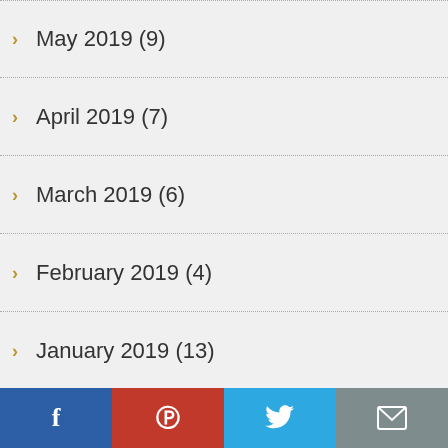May 2019 (9)
April 2019 (7)
March 2019 (6)
February 2019 (4)
January 2019 (13)
December 2018 (20)
November 2018 (13)
October 2018 (20)
September 2018 (13)
August 2018 (23)
July 2018 (24)
June 2018 (27)
[Figure (infographic): Social sharing bar with Facebook, Pinterest, Twitter, and Email buttons]